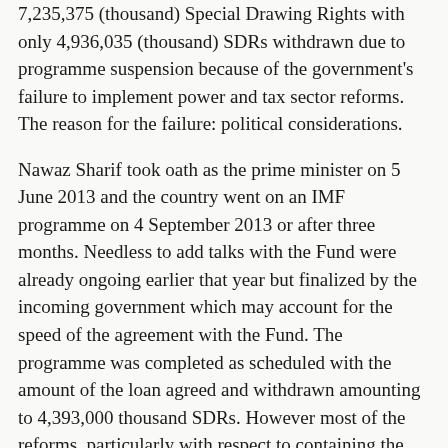7,235,375 (thousand) Special Drawing Rights with only 4,936,035 (thousand) SDRs withdrawn due to programme suspension because of the government's failure to implement power and tax sector reforms. The reason for the failure: political considerations.
Nawaz Sharif took oath as the prime minister on 5 June 2013 and the country went on an IMF programme on 4 September 2013 or after three months. Needless to add talks with the Fund were already ongoing earlier that year but finalized by the incoming government which may account for the speed of the agreement with the Fund. The programme was completed as scheduled with the amount of the loan agreed and withdrawn amounting to 4,393,000 thousand SDRs. However most of the reforms, particularly with respect to containing the budget deficit, were abandoned in the run-up to the 2018 elections.